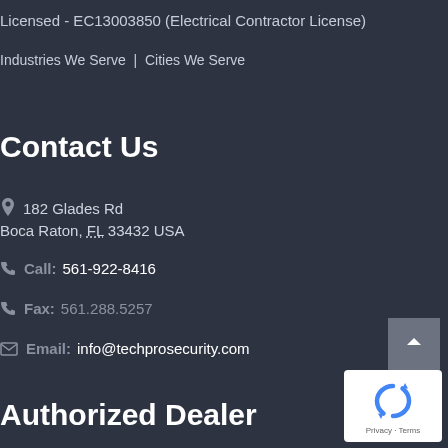Licensed - EC13003850 (Electrical Contractor License)
Industries We Serve | Cities We Serve
Contact Us
182 Glades Rd
Boca Raton, FL 33432 USA
Call: 561-922-8416
Fax: 561.288.5257
Email: info@techprosecurity.com
Authorized Dealer
[Figure (logo): reCAPTCHA logo badge with Privacy and Terms text]